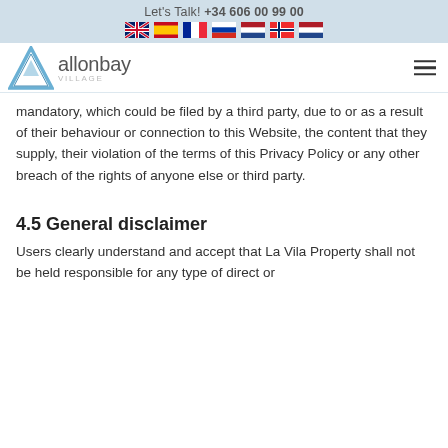Let's Talk! +34 606 00 99 00
[Figure (logo): Allonbay Village logo with stylized blue mountain/triangle graphic and flags row (UK, Spain, France, Russia, Netherlands, Norway, Netherlands)]
mandatory, which could be filed by a third party, due to or as a result of their behaviour or connection to this Website, the content that they supply, their violation of the terms of this Privacy Policy or any other breach of the rights of anyone else or third party.
4.5 General disclaimer
Users clearly understand and accept that La Vila Property shall not be held responsible for any type of direct or